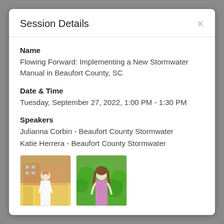Session Details
Name
Flowing Forward: Implementing a New Stormwater Manual in Beaufort County, SC
Date & Time
Tuesday, September 27, 2022, 1:00 PM - 1:30 PM
Speakers
Julianna Corbin - Beaufort County Stormwater
Katie Herrera - Beaufort County Stormwater
[Figure (photo): Photos of two speakers: Julianna Corbin and Katie Herrera]
Description